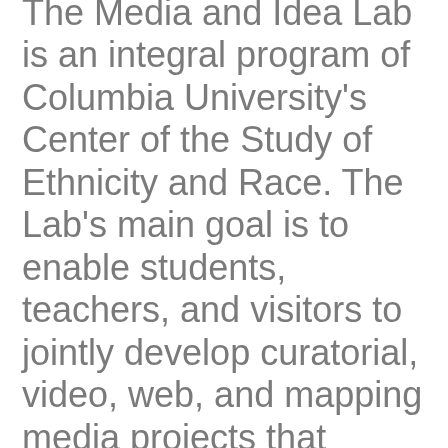The Media and Idea Lab is an integral program of Columbia University's Center of the Study of Ethnicity and Race. The Lab's main goal is to enable students, teachers, and visitors to jointly develop curatorial, video, web, and mapping media projects that enhance understanding of crucial questions, create knowledge communities, and found discussion spaces. At its core, the Lab offers courses, project opportunities and working groups that all promote media as modes of inquiry and community-building. More information at mediaandidealab@columbia.edu.